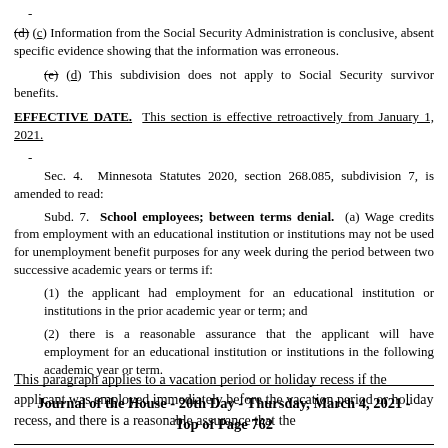-
(d) (c) Information from the Social Security Administration is conclusive, absent specific evidence showing that the information was erroneous.
(e) (d) This subdivision does not apply to Social Security survivor benefits.
EFFECTIVE DATE. This section is effective retroactively from January 1, 2021.
-
Sec. 4.  Minnesota Statutes 2020, section 268.085, subdivision 7, is amended to read:
Subd. 7.  School employees; between terms denial.  (a) Wage credits from employment with an educational institution or institutions may not be used for unemployment benefit purposes for any week during the period between two successive academic years or terms if:
(1) the applicant had employment for an educational institution or institutions in the prior academic year or term; and
(2) there is a reasonable assurance that the applicant will have employment for an educational institution or institutions in the following academic year or term.
Journal of the House - 20th Day - Thursday, March 4, 2021 - Top of Page 762
This paragraph applies to a vacation period or holiday recess if the applicant was employed immediately before the vacation period or holiday recess, and there is a reasonable assurance that the